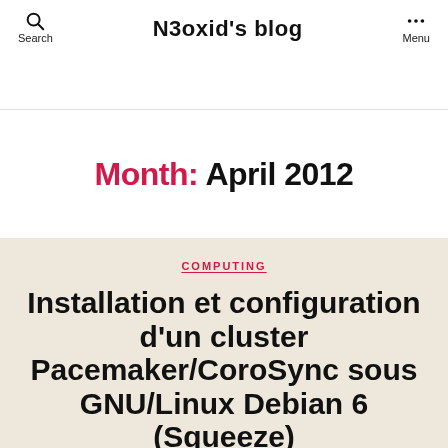N3oxid's blog
Month: April 2012
COMPUTING
Installation et configuration d'un cluster Pacemaker/CoroSync sous GNU/Linux Debian 6 (Squeeze)